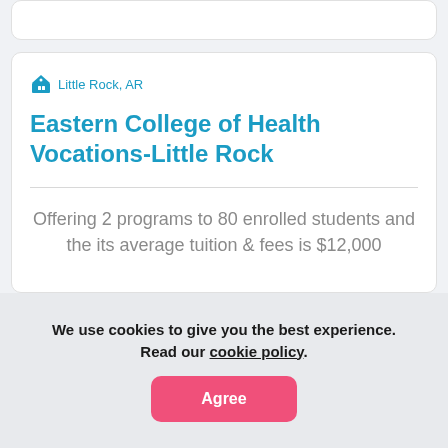Little Rock, AR
Eastern College of Health Vocations-Little Rock
Offering 2 programs to 80 enrolled students and the its average tuition & fees is $12,000
We use cookies to give you the best experience. Read our cookie policy.